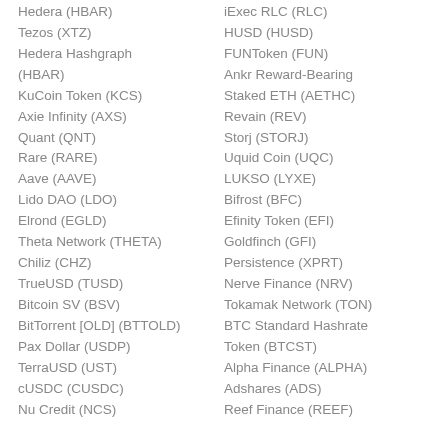Hedera (HBAR)
iExec RLC (RLC)
Tezos (XTZ)
HUSD (HUSD)
Hedera Hashgraph (HBAR)
FUNToken (FUN)
KuCoin Token (KCS)
Ankr Reward-Bearing Staked ETH (AETHC)
Axie Infinity (AXS)
Revain (REV)
Quant (QNT)
Storj (STORJ)
Rare (RARE)
Uquid Coin (UQC)
Aave (AAVE)
LUKSO (LYXE)
Lido DAO (LDO)
Bifrost (BFC)
Elrond (EGLD)
Efinity Token (EFI)
Theta Network (THETA)
Goldfinch (GFI)
Chiliz (CHZ)
Persistence (XPRT)
TrueUSD (TUSD)
Nerve Finance (NRV)
Bitcoin SV (BSV)
Tokamak Network (TON)
BitTorrent [OLD] (BTTOLD)
BTC Standard Hashrate Token (BTCST)
Pax Dollar (USDP)
Alpha Finance (ALPHA)
TerraUSD (UST)
Adshares (ADS)
cUSDC (CUSDC)
Reef Finance (REEF)